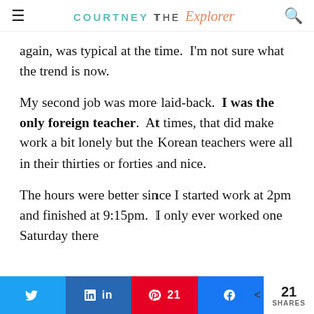COURTNEY THE Explorer
again, was typical at the time.  I'm not sure what the trend is now.
My second job was more laid-back.  I was the only foreign teacher.  At times, that did make work a bit lonely but the Korean teachers were all in their thirties or forties and nice.
The hours were better since I started work at 2pm and finished at 9:15pm.  I only ever worked one Saturday there
Twitter Share | LinkedIn Share | Pinterest 21 | Facebook Share | < 21 SHARES